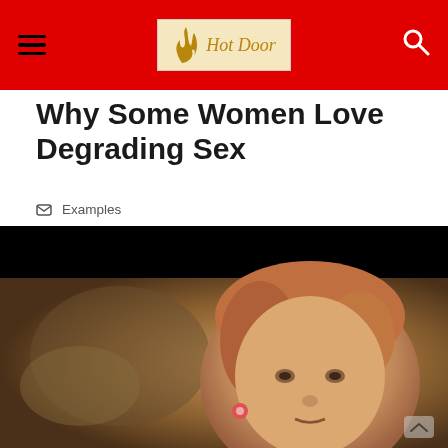Hot Door
Why Some Women Love Degrading Sex
Examples
[Figure (photo): A middle-aged woman with reddish hair styled up, wearing colorful earrings, looking forward against a blurred background. The image has a black bar across the top.]